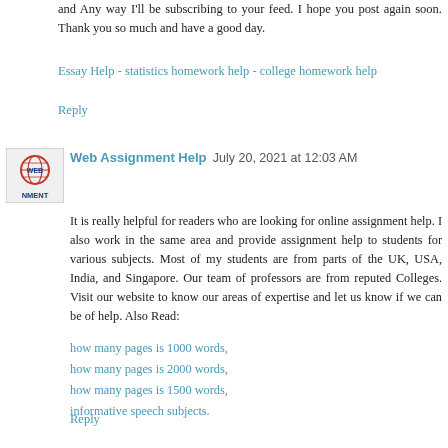and Any way I'll be subscribing to your feed. I hope you post again soon. Thank you so much and have a good day.
Essay Help - statistics homework help - college homework help
Reply
[Figure (logo): Web Assignment Help logo - small square image with globe icon and text NMENT]
Web Assignment Help  July 20, 2021 at 12:03 AM
It is really helpful for readers who are looking for online assignment help. I also work in the same area and provide assignment help to students for various subjects. Most of my students are from parts of the UK, USA, India, and Singapore. Our team of professors are from reputed Colleges. Visit our website to know our areas of expertise and let us know if we can be of help. Also Read:
how many pages is 1000 words,
how many pages is 2000 words,
how many pages is 1500 words,
informative speech subjects.
Reply